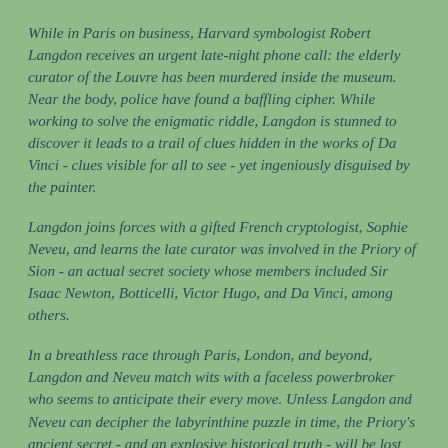While in Paris on business, Harvard symbologist Robert Langdon receives an urgent late-night phone call: the elderly curator of the Louvre has been murdered inside the museum. Near the body, police have found a baffling cipher. While working to solve the enigmatic riddle, Langdon is stunned to discover it leads to a trail of clues hidden in the works of Da Vinci - clues visible for all to see - yet ingeniously disguised by the painter.
Langdon joins forces with a gifted French cryptologist, Sophie Neveu, and learns the late curator was involved in the Priory of Sion - an actual secret society whose members included Sir Isaac Newton, Botticelli, Victor Hugo, and Da Vinci, among others.
In a breathless race through Paris, London, and beyond, Langdon and Neveu match wits with a faceless powerbroker who seems to anticipate their every move. Unless Langdon and Neveu can decipher the labyrinthine puzzle in time, the Priory's ancient secret - and an explosive historical truth - will be lost forever.The Da Vinci Code heralds the arrival of a new breed of lightning-paced, intelligent thriller utterly unpredictable right up to its stunning conclusion."